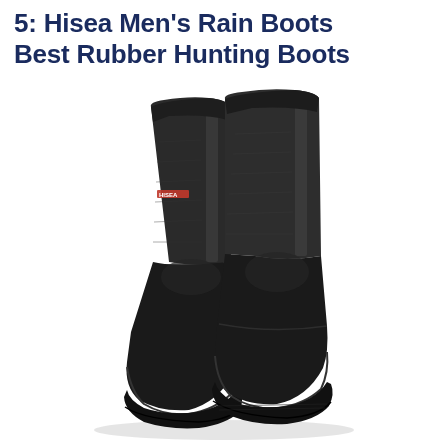5: Hisea Men's Rain Boots Best Rubber Hunting Boots
[Figure (photo): A pair of tall black rubber/neoprene hunting rain boots (Hisea brand) shown from a slight angle. The boots have a matte black neoprene upper shaft, shiny rubber lower section and sole, a small orange HISEA logo on the left boot shaft, and a textured rubber outsole.]